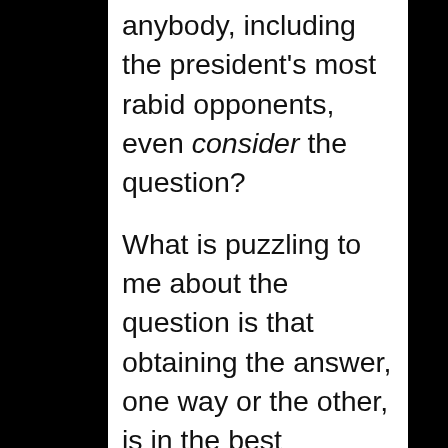anybody, including the president's most rabid opponents, even consider the question?
What is puzzling to me about the question is that obtaining the answer, one way or the other, is in the best interests of every single American, whether pro-Obama or totally